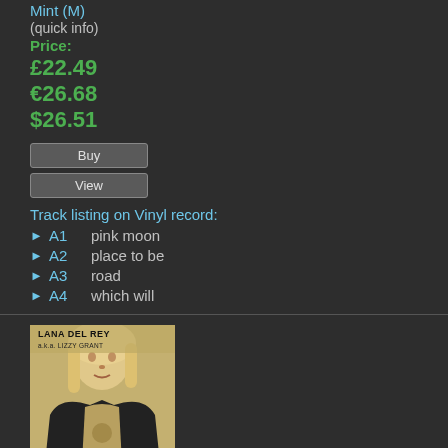Mint (M)
(quick info)
Price:
£22.49
€26.68
$26.51
Buy
View
Track listing on Vinyl record:
A1   pink moon
A2   place to be
A3   road
A4   which will
[Figure (photo): Album cover for Lana Del Rey a.k.a. Lizzy Grant showing a blonde woman in a dark jacket with text 'LANA DEL REY a.k.a. LIZZY GRANT']